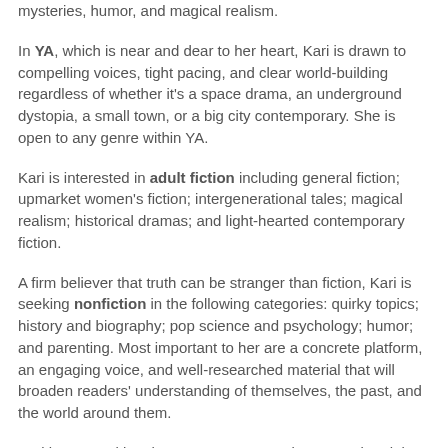mysteries, humor, and magical realism.
In YA, which is near and dear to her heart, Kari is drawn to compelling voices, tight pacing, and clear world-building regardless of whether it's a space drama, an underground dystopia, a small town, or a big city contemporary. She is open to any genre within YA.
Kari is interested in adult fiction including general fiction; upmarket women's fiction; intergenerational tales; magical realism; historical dramas; and light-hearted contemporary fiction.
A firm believer that truth can be stranger than fiction, Kari is seeking nonfiction in the following categories: quirky topics; history and biography; pop science and psychology; humor; and parenting. Most important to her are a concrete platform, an engaging voice, and well-researched material that will broaden readers' understanding of themselves, the past, and the world around them.
Kari is not seeking: horror, romance, erotica, memoir, adult sci-fi/fantasy, thrillers, and hard-boiled crime.